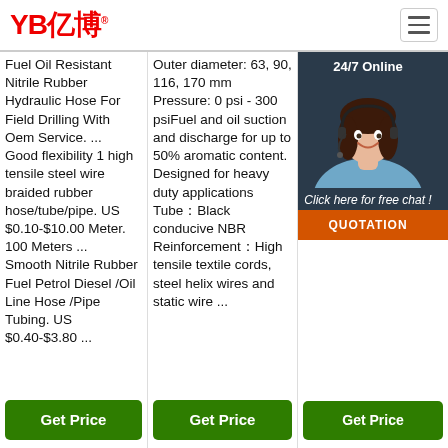YB亿博®
Fuel Oil Resistant Nitrile Rubber Hydraulic Hose For Field Drilling With Oem Service. ... Good flexibility 1 high tensile steel wire braided rubber hose/tube/pipe. US $0.10-$10.00 Meter. 100 Meters ... Smooth Nitrile Rubber Fuel Petrol Diesel /Oil Line Hose /Pipe Tubing. US $0.40-$3.80 ...
Outer diameter: 63, 90, 116, 170 mm Pressure: 0 psi - 300 psiFuel and oil suction and discharge for up to 50% aromatic content. Designed for heavy duty applications Tube：Black conducive NBR Reinforcement：High tensile textile cords, steel helix wires and static wire ...
Fuel including race fuel, alternative Silicone superior Standard Brand high and Or Rubber hose fuel carburettor ...
[Figure (photo): Customer service representative woman with headset, 24/7 Online chat overlay widget with QUOTATION button]
Get Price
Get Price
Get Price